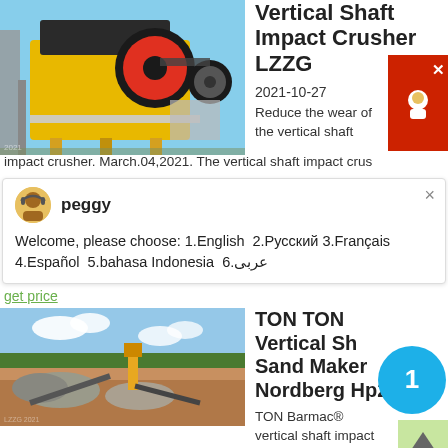[Figure (photo): Industrial vertical shaft impact crusher machine on scaffolding structure, yellow machinery with large flywheel]
Vertical Shaft Impact Crusher LZZG
2021-10-27
Reduce the wear of the vertical shaft impact crusher. March.04,2021. The vertical shaft impact crus…
peggy
Welcome, please choose: 1.English  2.Русский 3.Français  4.Español  5.bahasa Indonesia  6.عربى
get price
[Figure (photo): Outdoor mining/quarry site with large industrial equipment, conveyor belts, gravel piles and tropical trees in background]
TON TON Vertical Shaft Sand Maker Nordberg Hp200
TON Barmac® vertical shaft impact (VSI) crushers were